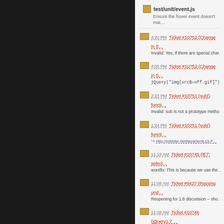test/unit/event.js
Ensure the hover event doesn't mat...
4:20 PM Ticket #10752 (Change in S... Invalid: Yes, if there are special char...
4:05 PM Ticket #10752 (Change in S... jQuery("img[src$=off.gif]") This w...
2:23 PM Ticket #10751 (sub() functi... Invalid: sub is not a prototype metho...
1:24 PM Ticket #10751 (sub() functi... http://jsfiddle.net/tlazarte/4LQLF...
11:15 AM Ticket #10745 (IE7: select... wontfix: This is because we use the...
11:08 AM Ticket #9427 (Passing und... Reopening for 1.8 discussion -- sho...
11:08 AM Ticket #10746 (jQuery1.7 ... Invalid: Please ask for support on th...
11:07 AM Ticket #5571 (Allow chaini... Reopening for 1.8 discussion -- sho...
11:04 AM Ticket #10750 (A "null" in t... Invalid: Thanks for taking the time to...
10:42 AM Ticket #10749 (.text(null) b... duplicate
10:40 AM Ticket #10747 (Triggering... duplicate
10:31 AM Ticket #10737 (IE7 / 8 - F... fixed: Move clearing the support var...
Changeset [d589700]...